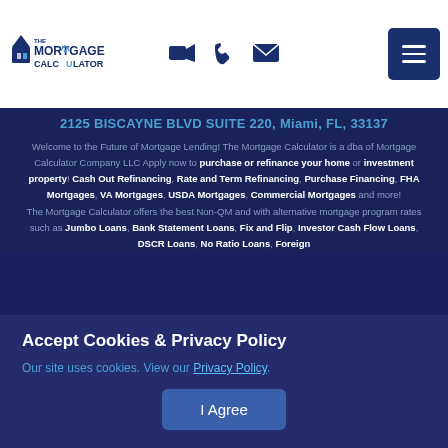[Figure (logo): The Mortgage Calculator logo - dark blue and white text with house/calculator icon]
2125 BISCAYNE BLVD SUITE 220, Miami, FL, 33137
Welcome to the Future of Mortgage Lending! The Mortgage Calculator is a dba of Mortgage Calculator Company LLC Apply now to purchase or refinance your home or investment property! Cash Out Refinancing, Rate and Term Refinancing, Purchase Financing, FHA Mortgages, VA Mortgages, USDA Mortgages, Commercial Mortgages and more! The Mortgage Calculator offers the best Non-QM and with alternative mortgage program rates such as Jumbo Loans, Bank Statement Loans, Fix and Flip, Investor Cash Flow Loans, DSCR Loans, No Ratio Loans, Foreign
Accept Cookies & Privacy Policy
Our site uses cookies. View our Privacy Policy.
I Agree